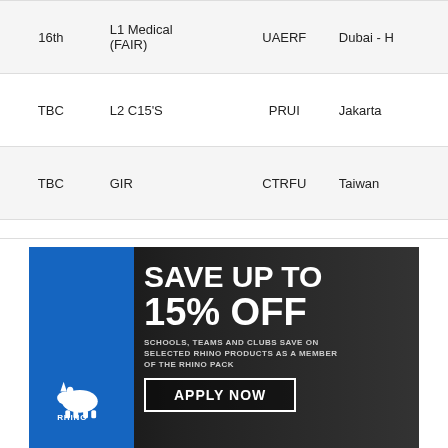| Date | Event | Org | Location |
| --- | --- | --- | --- |
| 16th | L1 Medical (FAIR) | UAERF | Dubai - H |
| TBC | L2 C15'S | PRUI | Jakarta |
| TBC | GIR | CTRFU | Taiwan |
[Figure (infographic): Rhino rugby advertisement: Save up to 15% off. Schools, teams and clubs save on selected Rhino products as a member of the Rhino Pack. Apply Now button.]